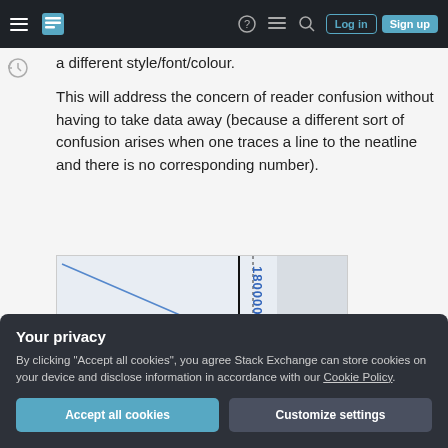Stack Exchange navigation with Log in and Sign up buttons
a different style/font/colour.
This will address the concern of reader confusion without having to take data away (because a different sort of confusion arises when one traces a line to the neatline and there is no corresponding number).
[Figure (map): Map excerpt showing a diagonal blue line crossing a vertical neatline with the label 1800000 in blue rotated text, dotted and solid vertical lines visible]
Your privacy
By clicking "Accept all cookies", you agree Stack Exchange can store cookies on your device and disclose information in accordance with our Cookie Policy.
Accept all cookies
Customize settings
[Figure (map): Partial map excerpt visible at bottom of page below privacy overlay]